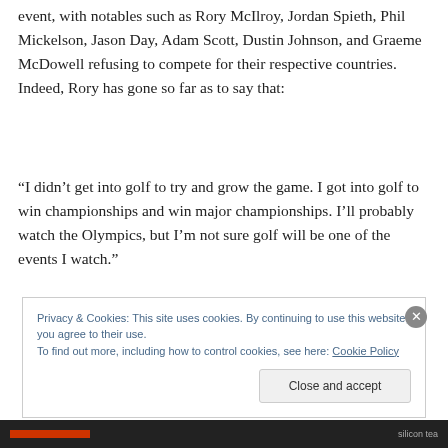event, with notables such as Rory McIlroy, Jordan Spieth, Phil Mickelson, Jason Day, Adam Scott, Dustin Johnson, and Graeme McDowell refusing to compete for their respective countries.  Indeed, Rory has gone so far as to say that:
“I didn’t get into golf to try and grow the game. I got into golf to win championships and win major championships. I’ll probably watch the Olympics, but I’m not sure golf will be one of the events I watch.”
Privacy & Cookies: This site uses cookies. By continuing to use this website, you agree to their use.
To find out more, including how to control cookies, see here: Cookie Policy